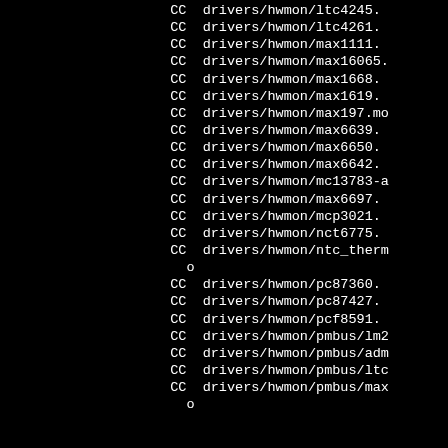CC drivers/hwmon/ltc4245.
CC drivers/hwmon/ltc4261.
CC drivers/hwmon/max1111.
CC drivers/hwmon/max16065.
CC drivers/hwmon/max1668.
CC drivers/hwmon/max1619.
CC drivers/hwmon/max197.mo
CC drivers/hwmon/max6639.
CC drivers/hwmon/max6650.
CC drivers/hwmon/max6642.
CC drivers/hwmon/mc13783-a
CC drivers/hwmon/max6697.
CC drivers/hwmon/mcp3021.
CC drivers/hwmon/nct6775.
CC drivers/hwmon/ntc_therm
o
CC drivers/hwmon/pc87360.
CC drivers/hwmon/pc87427.
CC drivers/hwmon/pcf8591.
CC drivers/hwmon/pmbus/lm2
CC drivers/hwmon/pmbus/adm
CC drivers/hwmon/pmbus/ltc
CC drivers/hwmon/pmbus/max
o